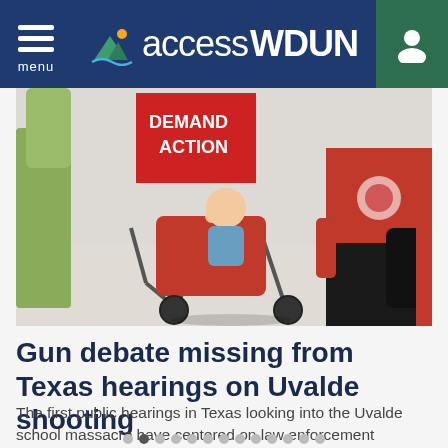accessWDUN — menu / user navigation header
[Figure (photo): Photo of a baby in a red stroller being pushed by an adult wearing a red shirt in what appears to be a public building. A red sign reading 'DEMAND ACTION' is visible in the background.]
Gun debate missing from Texas hearings on Uvalde shooting
The first public hearings in Texas looking into the Uvalde school massacre have centered on law enforcement blunders, school building safety and mental health
2:26PM ( 8 minutes ago )